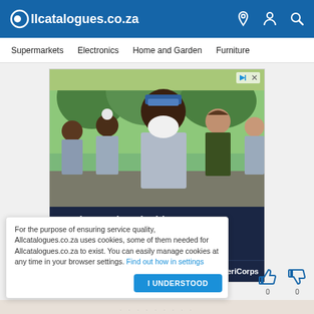Allcatalogues.co.za
Supermarkets  Electronics  Home and Garden  Furniture
[Figure (photo): Advertisement banner for AmeriCorps NCCC showing young people in gray t-shirts outdoors with text 'Ready to gain valuable leadership skills? THIS IS YOUR MOMENT.' and URL AmeriCorps.gov/NCCC]
For the purpose of ensuring service quality, Allcatalogues.co.za uses cookies, some of them needed for Allcatalogues.co.za to exist. You can easily manage cookies at any time in your browser settings. Find out how in settings
I UNDERSTOOD